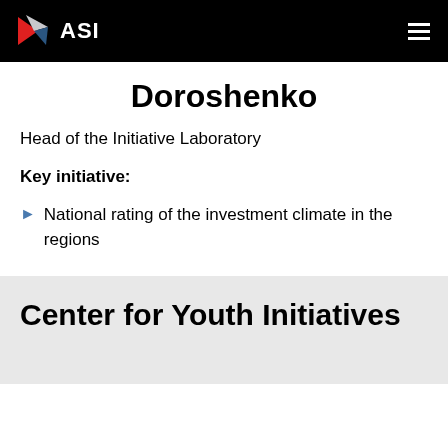ASI
Doroshenko
Head of the Initiative Laboratory
Key initiative:
National rating of the investment climate in the regions
Center for Youth Initiatives